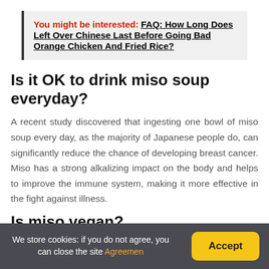You might be interested: FAQ: How Long Does Left Over Chinese Last Before Going Bad Orange Chicken And Fried Rice?
Is it OK to drink miso soup everyday?
A recent study discovered that ingesting one bowl of miso soup every day, as the majority of Japanese people do, can significantly reduce the chance of developing breast cancer. Miso has a strong alkalizing impact on the body and helps to improve the immune system, making it more effective in the fight against illness.
Is miso vegan?
We store cookies: if you do not agree, you can close the site Agreemen